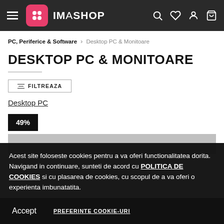IMASHOP - navigation header with hamburger menu, logo, search, wishlist, account, cart icons
PC, Periferice & Software > Desktop PC & Monitoare
DESKTOP PC & MONITOARE
≡ FILTREAZA
Desktop PC
49%
Acest site foloseste cookies pentru a va oferi functionalitatea dorita. Navigand in continuare, sunteti de acord cu POLITICA DE COOKIES si cu plasarea de cookies, cu scopul de a va oferi o experienta imbunatatita.
Accept   PREFERINTE COOKIE-URI